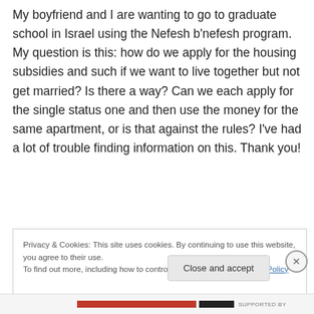My boyfriend and I are wanting to go to graduate school in Israel using the Nefesh b'nefesh program. My question is this: how do we apply for the housing subsidies and such if we want to live together but not get married? Is there a way? Can we each apply for the single status one and then use the money for the same apartment, or is that against the rules? I've had a lot of trouble finding information on this. Thank you!
Privacy & Cookies: This site uses cookies. By continuing to use this website, you agree to their use.
To find out more, including how to control cookies, see here: Cookie Policy